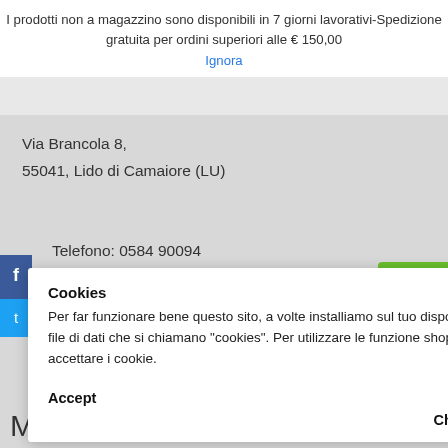I prodotti non a magazzino sono disponibili in 7 giorni lavorativi-Spedizione gratuita per ordini superiori alle € 150,00
Ignora
Via Brancola 8,
55041, Lido di Camaiore (LU)
Telefono: 0584 90094
Cookies
Per far funzionare bene questo sito, a volte installiamo sul tuo dispositivo dei piccoli file di dati che si chiamano "cookies". Per utilizzare le funzione shop, è necessario accettare i cookie.
Accept
Read more
Change Settings
Mappa di Localizzazione